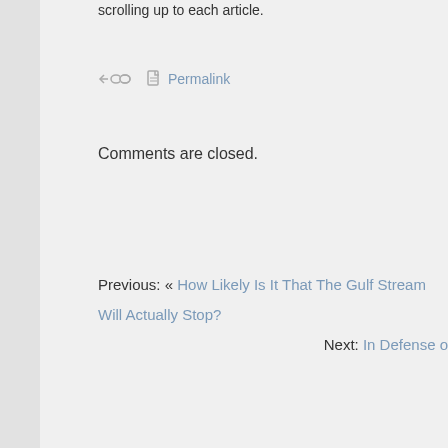scrolling up to each article.
Permalink
Comments are closed.
Previous: « How Likely Is It That The Gulf Stream Will Actually Stop?
Next: In Defense o